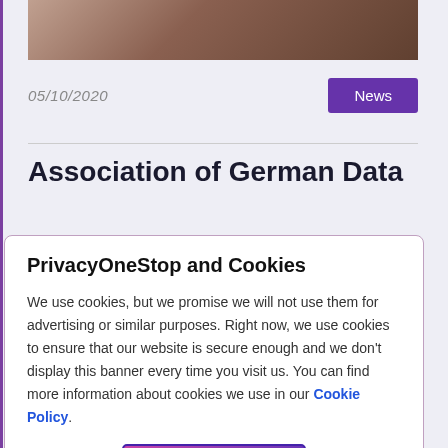[Figure (photo): Partial view of a book or document on a desk, top portion cropped]
05/10/2020
News
Association of German Data
PrivacyOneStop and Cookies
We use cookies, but we promise we will not use them for advertising or similar purposes. Right now, we use cookies to ensure that our website is secure enough and we don't display this banner every time you visit us. You can find more information about cookies we use in our Cookie Policy.
Got it